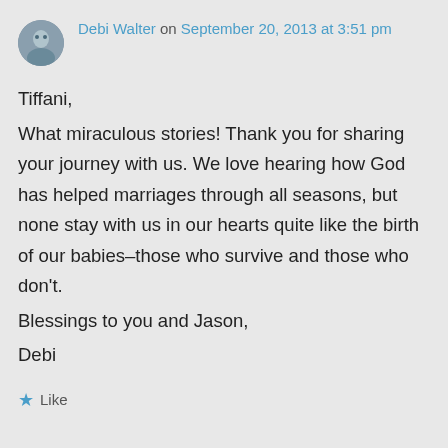Debi Walter on September 20, 2013 at 3:51 pm
Tiffani,
What miraculous stories! Thank you for sharing your journey with us. We love hearing how God has helped marriages through all seasons, but none stay with us in our hearts quite like the birth of our babies–those who survive and those who don't.
Blessings to you and Jason,
Debi
Like